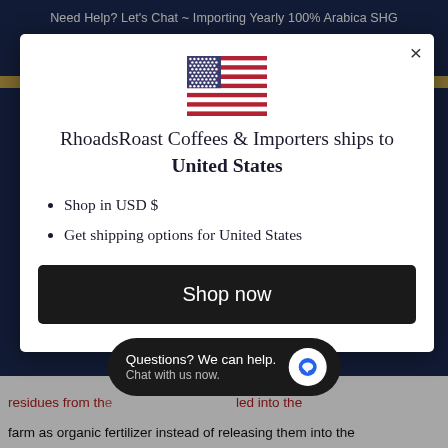Need Help? Let's Chat ~ Importing Yearly 100% Arabica SHG
[Figure (screenshot): Modal dialog overlay on a website. Contains a US flag, heading text, bullet list, and Shop now button.]
RhoadsRoast Coffees & Importers ships to United States
Shop in USD $
Get shipping options for United States
Shop now
Questions? We can help. Chat with us now.
residues from the ... led into the farm as organic fertilizer instead of releasing them into the